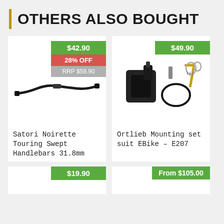OTHERS ALSO BOUGHT
[Figure (photo): Satori Noirette Touring Swept Handlebars 31.8mm product photo on white background, showing black curved handlebars. Price badges: $42.90 (green), 28% OFF (red/pink), RRP $59.90 (grey).]
Satori Noirette Touring Swept Handlebars 31.8mm
[Figure (photo): Ortlieb Mounting set suit EBike - E207 product photo on white background, showing black mounting hardware with keys and a cable. Price badge: $49.90 (green).]
Ortlieb Mounting set suit EBike - E207
[Figure (photo): Bottom left product card partially visible, price badge $19.90 (green).]
[Figure (photo): Bottom right product card partially visible, price badge From $105.00 (green).]